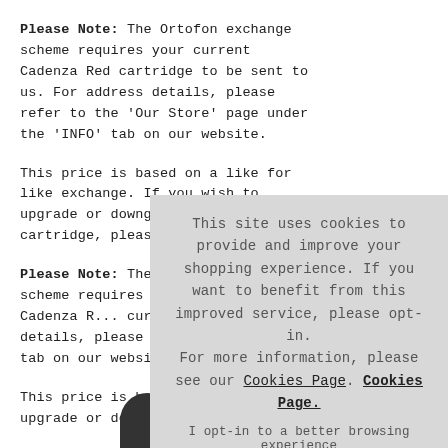Please Note: The Ortofon exchange scheme requires your current Cadenza Red cartridge to be sent to us. For address details, please refer to the 'Our Store' page under the 'INFO' tab on our website.
This price is based on a like for like exchange. If you wish to upgrade or downgrade your cartridge, please contact us.
Please Note: The Ortofon exchange scheme requires your current Cadenza Red cartridge to be sent to us. For address details, please refer to the 'Our Store' page under the 'INFO' tab on our website.
This price is based on a like for like exchange. If you wish to upgrade or downgrade your cartridge, please contact us.
This site uses cookies to provide and improve your shopping experience. If you want to benefit from this improved service, please opt-in. For more information, please see our Cookies Page. Cookies Page.
I opt-in to a better browsing experience
ACCEPT COOKIES